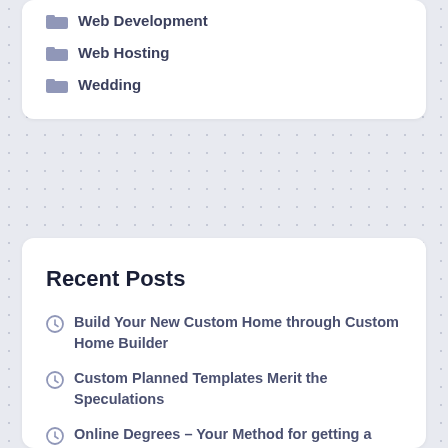Web Development
Web Hosting
Wedding
Recent Posts
Build Your New Custom Home through Custom Home Builder
Custom Planned Templates Merit the Speculations
Online Degrees – Your Method for getting a Completely Licensed Degree certificate
See a Podiatrist about Your Feet
Why Does Enlisting A Professional Real Estate